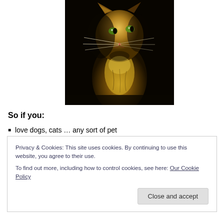[Figure (photo): A cat with long whiskers illuminated by dramatic golden light against a dark background, looking upward. The cat's fur is highlighted in warm golden tones.]
So if you:
love dogs, cats … any sort of pet
Privacy & Cookies: This site uses cookies. By continuing to use this website, you agree to their use.
To find out more, including how to control cookies, see here: Our Cookie Policy